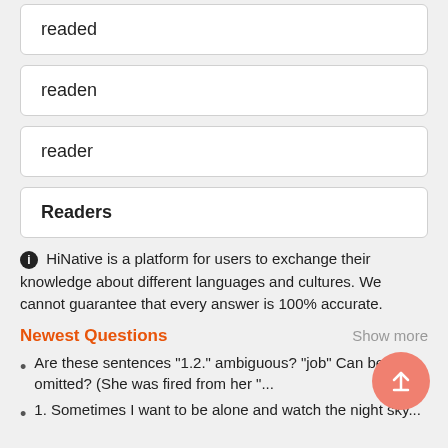readed
readen
reader
Readers
HiNative is a platform for users to exchange their knowledge about different languages and cultures. We cannot guarantee that every answer is 100% accurate.
Newest Questions
Show more
Are these sentences "1.2." ambiguous? "job" Can be omitted? (She was fired from her "...
1. Sometimes I want to be alone and watch the night sky...